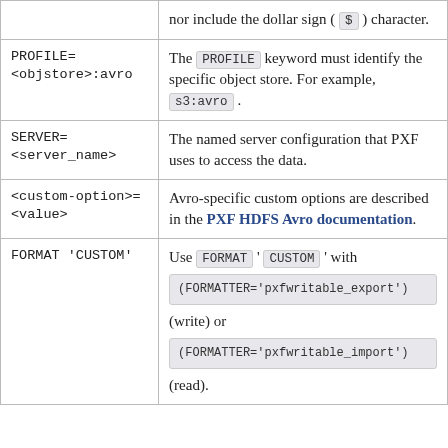|  | nor include the dollar sign ( $ ) character. |
| PROFILE=
<objstore>:avro | The PROFILE keyword must identify the specific object store. For example, s3:avro . |
| SERVER=
<server_name> | The named server configuration that PXF uses to access the data. |
| <custom-option>=
<value> | Avro-specific custom options are described in the PXF HDFS Avro documentation. |
| FORMAT 'CUSTOM' | Use FORMAT ' CUSTOM ' with
(FORMATTER='pxfwritable_export')
(write) or
(FORMATTER='pxfwritable_import')
(read). |